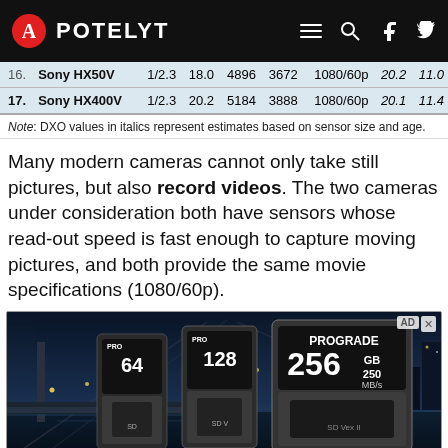APOTELYT
| # | Camera | Aperture | MP | W | H | Video | DXO Score | DXO Color |
| --- | --- | --- | --- | --- | --- | --- | --- | --- |
| 16. | Sony HX50V | 1/2.3 | 18.0 | 4896 | 3672 | 1080/60p | 20.2 | 11.0 |
| 17. | Sony HX400V | 1/2.3 | 20.2 | 5184 | 3888 | 1080/60p | 20.1 | 11.4 |
Note: DXO values in italics represent estimates based on sensor size and age.
Many modern cameras cannot only take still pictures, but also record videos. The two cameras under consideration both have sensors whose read-out speed is fast enough to capture moving pictures, and both provide the same movie specifications (1080/60p).
[Figure (photo): Advertisement showing ProGrade SD memory cards (64GB, 128GB, 256GB 250MB/s) against a night cityscape background with a bridge.]